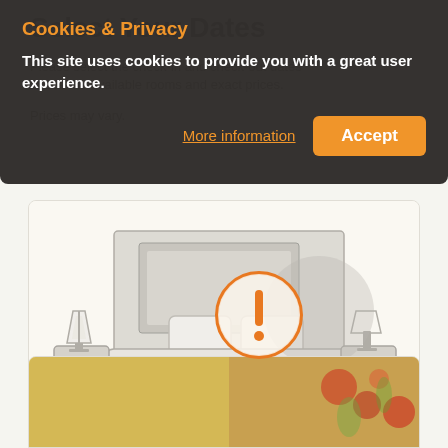Select Your Dates
Please select the check-in and check-out dates to see the available rooms and exact prices.
Prices may vary.
[Figure (screenshot): Cookie and Privacy consent overlay dialog on a hotel booking website. Contains title 'Cookies & Privacy' in orange, body text about cookie usage, a 'More information' link in orange, and an orange 'Accept' button. Behind the overlay is a hotel room illustration with a bed, pillows, lamp, and nightstands. An exclamation mark warning circle is visible. A second card at the bottom shows a floral image.]
Cookies & Privacy
This site uses cookies to provide you with a great user experience.
More information
Accept